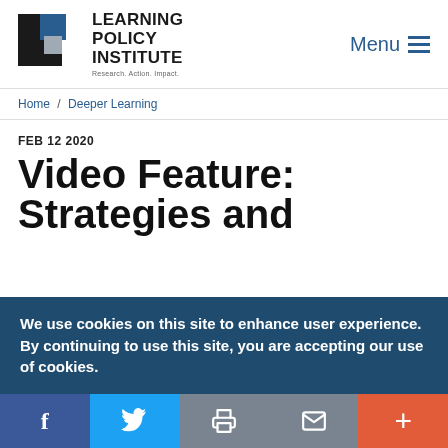Learning Policy Institute — Research. Action. Impact. | Menu
Home / Deeper Learning
FEB 12 2020
Video Feature: Strategies and
We use cookies on this site to enhance user experience. By continuing to use this site, you are accepting our use of cookies.